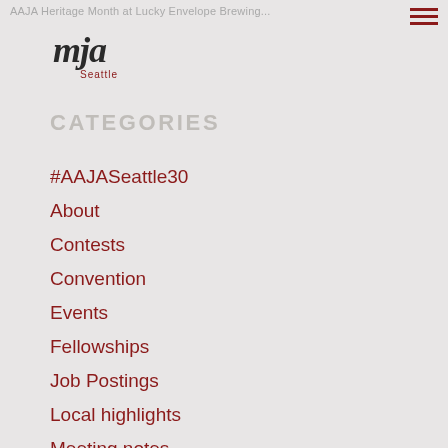AAJA Heritage Month at Lucky Envelope Brewing...
[Figure (logo): AAJA Seattle chapter logo - cursive 'mja' text with 'Seattle' below]
CATEGORIES
#AAJASeattle30
About
Contests
Convention
Events
Fellowships
Job Postings
Local highlights
Meeting notes
Members